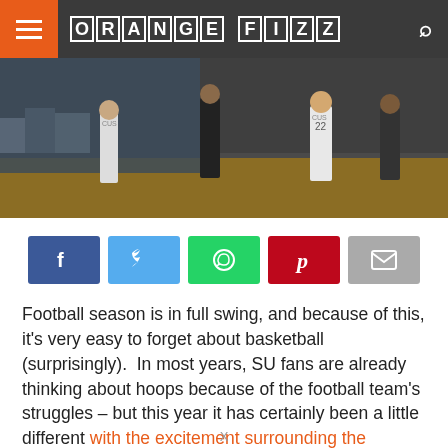ORANGE FIZZ
[Figure (photo): Basketball game action photo showing players on a court with crowd in background]
[Figure (infographic): Social sharing buttons: Facebook, Twitter, WhatsApp, Pinterest, Email]
Football season is in full swing, and because of this, it's very easy to forget about basketball (surprisingly). In most years, SU fans are already thinking about hoops because of the football team's struggles – but this year it has certainly been a little different with the excitement surrounding the football program
X